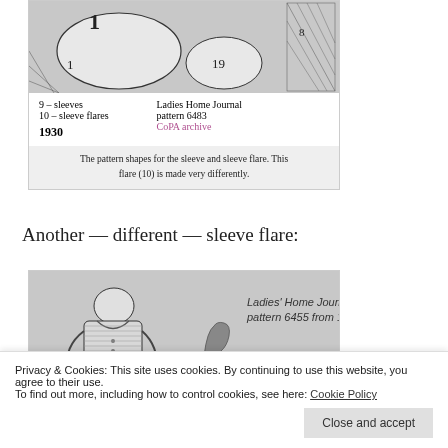[Figure (illustration): Sewing pattern pieces for sleeve and sleeve flare from Ladies Home Journal pattern 6483, 1930. Shows numbered pattern pieces including pieces labeled 1, 19, and 8.]
9 – sleeves
10 – sleeve flares
1930
Ladies Home Journal pattern 6483
CoPA archive
The pattern shapes for the sleeve and sleeve flare. This flare (10) is made very differently.
Another — different — sleeve flare:
[Figure (illustration): Ladies' Home Journal pattern 6455 from 1930. Shows a woman wearing a jacket with sleeve flares. Pattern pieces visible at bottom.]
Sleeve with flares
Privacy & Cookies: This site uses cookies. By continuing to use this website, you agree to their use.
To find out more, including how to control cookies, see here: Cookie Policy
Close and accept